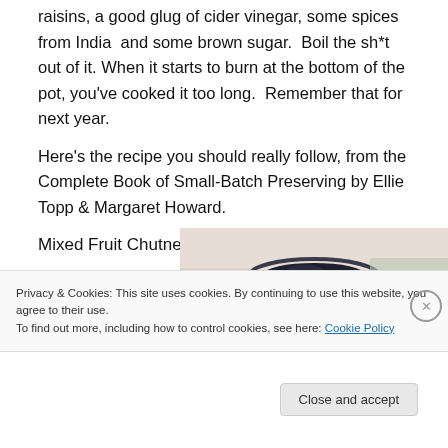raisins, a good glug of cider vinegar, some spices from India  and some brown sugar.  Boil the sh*t out of it.  When it starts to burn at the bottom of the pot, you've cooked it too long.  Remember that for next year.
Here's the recipe you should really follow, from the Complete Book of Small-Batch Preserving by Ellie Topp & Margaret Howard.
Mixed Fruit Chutney (Makes 4 1/2 cups)
[Figure (photo): Photo of a mason jar lid from above, with a light sky/outdoor background]
Privacy & Cookies: This site uses cookies. By continuing to use this website, you agree to their use.
To find out more, including how to control cookies, see here: Cookie Policy
Close and accept